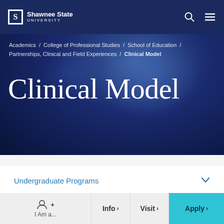Shawnee State University
Academics / College of Professional Studies / School of Education / Partnerships, Clinical and Field Experiences / Clinical Model
Clinical Model
Undergraduate Programs
Graduate Programs
I Am a... Info Visit Apply